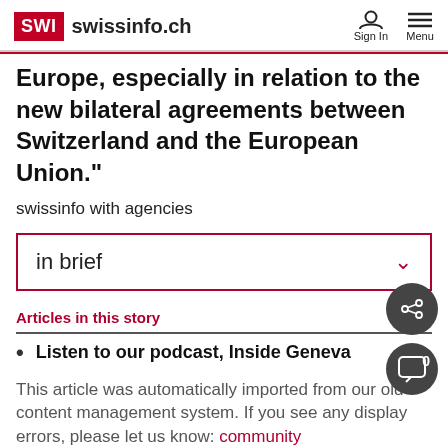SWI swissinfo.ch   Sign In  Menu
Europe, especially in relation to the new bilateral agreements between Switzerland and the European Union."
swissinfo with agencies
in brief
Articles in this story
Listen to our podcast, Inside Geneva
This article was automatically imported from our old content management system. If you see any display errors, please let us know: community